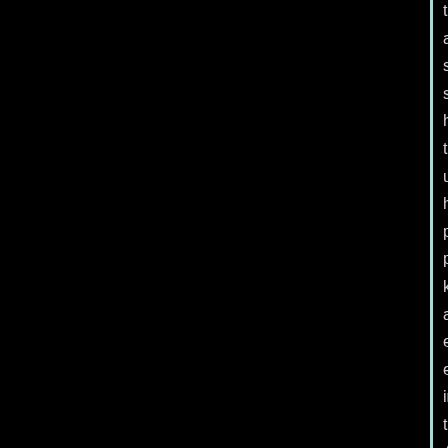they all survive, scientists have to understand how penguins, plants, krill and everything else in the Antarctic interact with one another. They need to